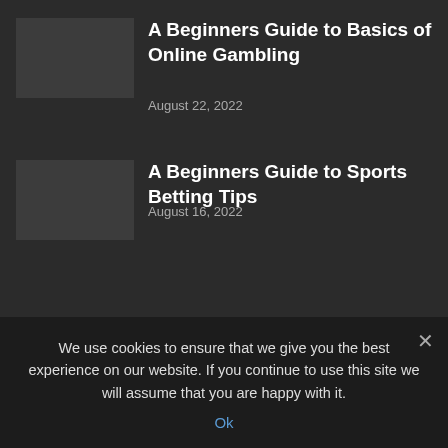A Beginners Guide to Basics of Online Gambling
August 22, 2022
A Beginners Guide to Sports Betting Tips
August 16, 2022
POPULAR CATEGORY
Latest Posts 46
We use cookies to ensure that we give you the best experience on our website. If you continue to use this site we will assume that you are happy with it.
Ok